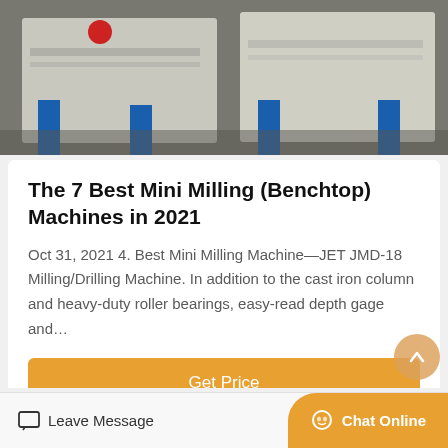[Figure (photo): Industrial milling machines with blue metal legs and grey bodies on a factory floor]
The 7 Best Mini Milling (Benchtop) Machines in 2021
Oct 31, 2021 4. Best Mini Milling Machine—JET JMD-18 Milling/Drilling Machine. In addition to the cast iron column and heavy-duty roller bearings, easy-read depth gage and…
Get Price
[Figure (photo): Partially visible next card with bird/plant illustration at bottom of page]
Leave Message
Chat Online